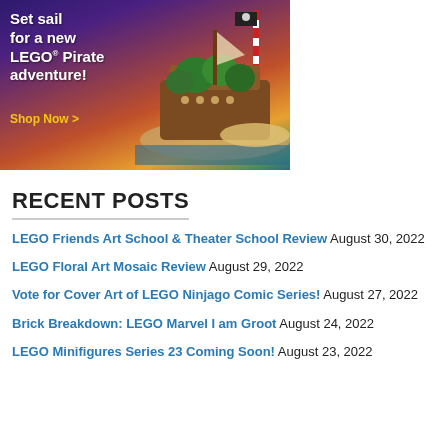[Figure (illustration): LEGO Pirate adventure advertisement banner with dark purple/orange sunset background, pirate ship and island LEGO set, white bold text reading 'Set sail for a new LEGO® Pirate adventure!' and yellow 'Shop Now >' link]
RECENT POSTS
LEGO Friends Art School & Theater School Review August 30, 2022
LEGO Floral Art Mosaic Review August 29, 2022
Vote for Cover Art of LEGO Ninjago Comic Series! August 27, 2022
Brick Breakdown: LEGO Marvel I am Groot August 24, 2022
LEGO Minifigures Series 23 Coming Soon! August 23, 2022